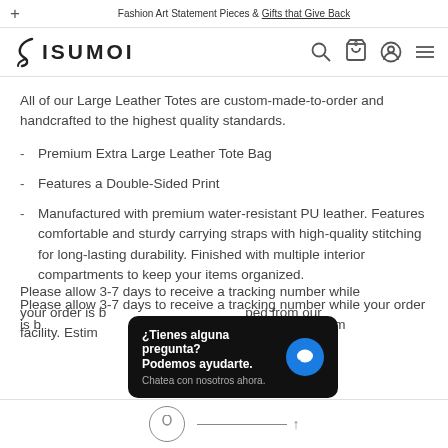Fashion Art Statement Pieces & Gifts that Give Back
[Figure (logo): Bisumoi brand logo with stylized 'S' and nav icons (search, cart, account, menu)]
All of our Large Leather Totes are custom-made-to-order and handcrafted to the highest quality standards.
Premium Extra Large Leather Tote Bag
Features a Double-Sided Print
Manufactured with premium water-resistant PU leather. Features comfortable and sturdy carrying straps with high-quality stitching for long-lasting durability. Finished with multiple interior compartments to keep your items organized.
Please allow 3-7 days to receive a tracking number while your order is being processed and shipped from our facility. Estim...
[Figure (screenshot): Chat popup overlay: '¿Tienes alguna pregunta? Podemos ayudarte. Chatea con nosotros ahora.' with blue chat bubble icon]